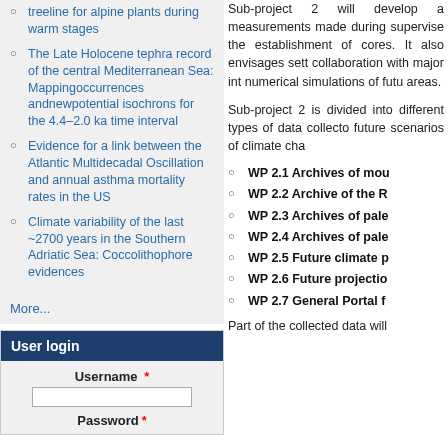treeline for alpine plants during warm stages
The Late Holocene tephra record of the central Mediterranean Sea: Mappingoccurrences andnewpotential isochrons for the 4.4–2.0 ka time interval
Evidence for a link between the Atlantic Multidecadal Oscillation and annual asthma mortality rates in the US
Climate variability of the last ~2700 years in the Southern Adriatic Sea: Coccolithophore evidences
More...
User login
Username *
Password *
Sub-project 2 will develop a measurements made during supervise the establishment of cores. It also envisages sett collaboration with major int numerical simulations of futu areas.
Sub-project 2 is divided into different types of data collecto future scenarios of climate cha
WP 2.1 Archives of mou
WP 2.2 Archive of the R
WP 2.3 Archives of pale
WP 2.4 Archives of pale
WP 2.5 Future climate p
WP 2.6 Future projectio
WP 2.7 General Portal f
Part of the collected data will